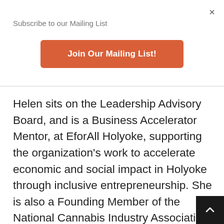×
Subscribe to our Mailing List
Join Our Mailing List!
Helen sits on the Leadership Advisory Board, and is a Business Accelerator Mentor, at EforAll Holyoke, supporting the organization's work to accelerate economic and social impact in Holyoke through inclusive entrepreneurship. She is also a Founding Member of the National Cannabis Industry Association's Sustainability Collaboration. And most recently, she was appointed by Attorney General Maura Healey to serve on